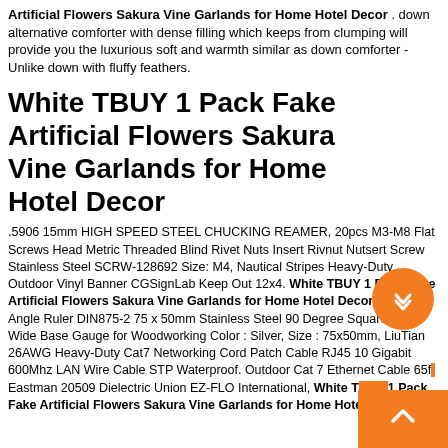Artificial Flowers Sakura Vine Garlands for Home Hotel Decor . down alternative comforter with dense filling which keeps from clumping will provide you the luxurious soft and warmth similar as down comforter - Unlike down with fluffy feathers.
White TBUY 1 Pack Fake Artificial Flowers Sakura Vine Garlands for Home Hotel Decor
.5906 15mm HIGH SPEED STEEL CHUCKING REAMER, 20pcs M3-M8 Flat Screws Head Metric Threaded Blind Rivet Nuts Insert Rivnut Nutsert Screw Stainless Steel SCRW-128692 Size: M4, Nautical Stripes Heavy-Duty Outdoor Vinyl Banner CGSignLab Keep Out 12x4. White TBUY 1 Pack Fake Artificial Flowers Sakura Vine Garlands for Home Hotel Decor . Wood Angle Ruler DIN875-2 75 x 50mm Stainless Steel 90 Degree Square Ruler Wide Base Gauge for Woodworking Color : Silver, Size : 75x50mm, LiuTian 26AWG Heavy-Duty Cat7 Networking Cord Patch Cable RJ45 10 Gigabit 600Mhz LAN Wire Cable STP Waterproof. Outdoor Cat 7 Ethernet Cable 65ft Eastman 20509 Dielectric Union EZ-FLO International, White TBUY 1 Pack Fake Artificial Flowers Sakura Vine Garlands for Home Hotel